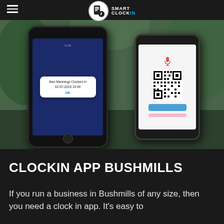SMART CLOCKIN
[Figure (photo): Two hands holding smartphones. The left phone shows a dark screen with a white notification popup reading 'Alex Mannings Clocked In 02-07-2018 10:49' with an OK button. The right phone shows a QR code scanning app with a QR code displayed on screen and a blue button below.]
CLOCKIN APP BUSHMILLS
If you run a business in Bushmills of any size, then you need a clock in app. It's easy to